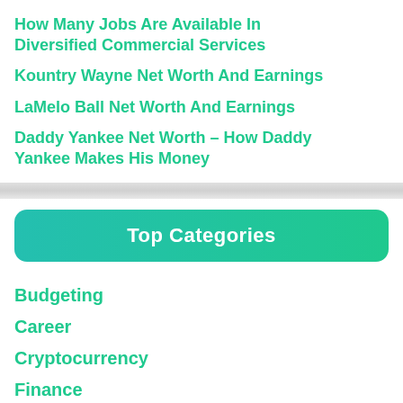How Many Jobs Are Available In Diversified Commercial Services
Kountry Wayne Net Worth And Earnings
LaMelo Ball Net Worth And Earnings
Daddy Yankee Net Worth – How Daddy Yankee Makes His Money
Top Categories
Budgeting
Career
Cryptocurrency
Finance